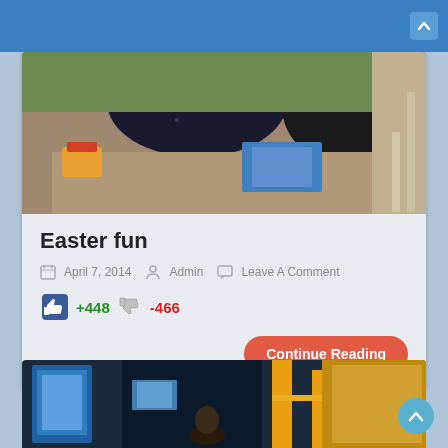[Figure (photo): People sitting at a table doing arts and crafts / painting activity, seen from behind]
Easter fun
April 7, 2014   Admin   Leave A Comment
+448  -466
Continue Reading
[Figure (photo): Interior of what appears to be a museum or exhibition space with yellow staircases and display screens]